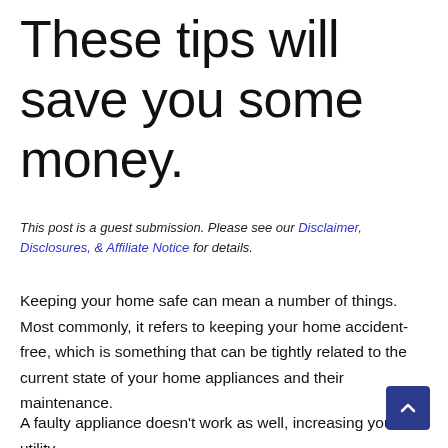These tips will save you some money.
This post is a guest submission. Please see our Disclaimer, Disclosures, & Affiliate Notice for details.
Keeping your home safe can mean a number of things. Most commonly, it refers to keeping your home accident-free, which is something that can be tightly related to the current state of your home appliances and their maintenance.
A faulty appliance doesn't work as well, increasing your utility